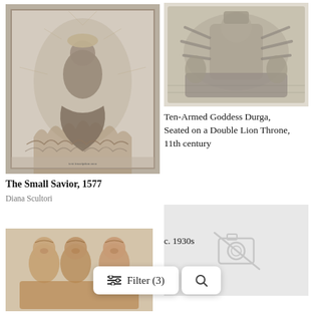[Figure (photo): Engraving of The Small Savior, a religious artwork showing a figure seated within a flaming heart with a halo, surrounded by clouds]
The Small Savior, 1577
Diana Scultori
[Figure (photo): Stone relief sculpture of Ten-Armed Goddess Durga seated on a Double Lion Throne, 11th century, showing detailed carved figures]
Ten-Armed Goddess Durga, Seated on a Double Lion Throne, 11th century
[Figure (photo): Gray placeholder box with a camera-off icon indicating no photo available]
[Figure (photo): Terracotta or clay sculpture showing multiple human figures grouped together, c. 1930s]
c. 1930s